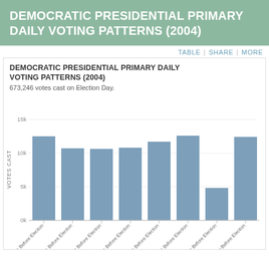DEMOCRATIC PRESIDENTIAL PRIMARY DAILY VOTING PATTERNS (2004)
TABLE | SHARE | MORE
DEMOCRATIC PRESIDENTIAL PRIMARY DAILY VOTING PATTERNS (2004)
673,246 votes cast on Election Day.
[Figure (bar-chart): Democratic Presidential Primary Daily Voting Patterns (2004)]